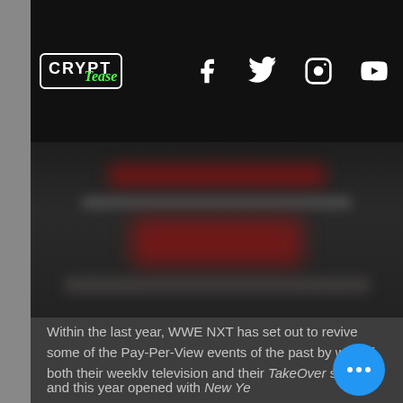[Figure (logo): CryptTease logo in white with green italic script, black background header bar with social media icons (Facebook, Twitter, Instagram, YouTube)]
[Figure (photo): Blurred/redacted WWE NXT promotional image with red text elements obscured]
Within the last year, WWE NXT has set out to revive some of the Pay-Per-View events of the past by way of both their weekly television and their TakeOver specials on the WWE Network. In 2020, we got TakeOver: In Your House, The Great American Bash, Halloween Havoc (which also had the “Spin the Wheel, Make the Deal” gimmick for two championship stipulation matches) and this year opened with New Year's Evil